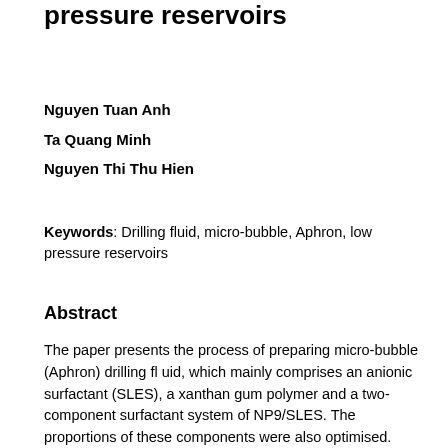pressure reservoirs
Nguyen Tuan Anh
Ta Quang Minh
Nguyen Thi Thu Hien
Keywords: Drilling fluid, micro-bubble, Aphron, low pressure reservoirs
Abstract
The paper presents the process of preparing micro-bubble (Aphron) drilling fluid, which mainly comprises an anionic surfactant (SLES), a xanthan gum polymer and a two-component surfactant system of NP9/SLES. The proportions of these components were also optimised. Core-flood testing with Bach Ho's core samples at 120oC showed that